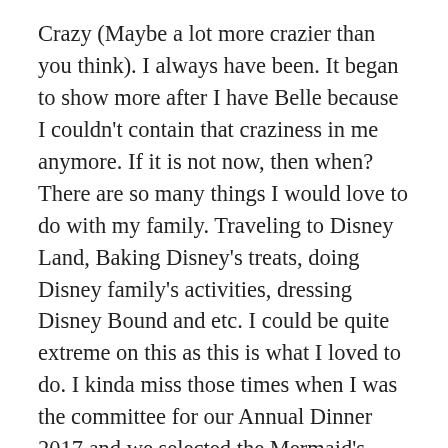Crazy (Maybe a lot more crazier than you think). I always have been. It began to show more after I have Belle because I couldn't contain that craziness in me anymore. If it is not now, then when? There are so many things I would love to do with my family. Traveling to Disney Land, Baking Disney's treats, doing Disney family's activities, dressing Disney Bound and etc. I could be quite extreme on this as this is what I loved to do. I kinda miss those times when I was the committee for our Annual Dinner 2017 and we selected the Mermaid's theme. I had the privilege to take up the costume's part. Blessed to be able to work with Sanee, Noor and Kathy from CCM Singapore . Million thanks to them for the great opportunity to learn about costumes and get to play around with their beautiful costumes. If